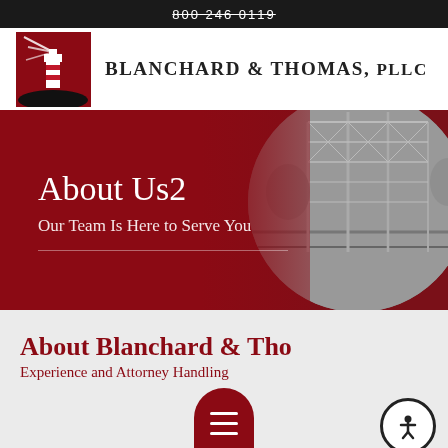800 246 0119
[Figure (logo): Blanchard & Thomas PLLC lighthouse logo — red square with white lighthouse and red/white stripes]
Blanchard & Thomas, PLLC
[Figure (photo): Hero banner with dark red background and grayscale bridge/structure photo in circular crop on right side]
About Us2
Our Team Is Here to Serve You
About Blanchard & Thomas
Experience and Attorney Handling